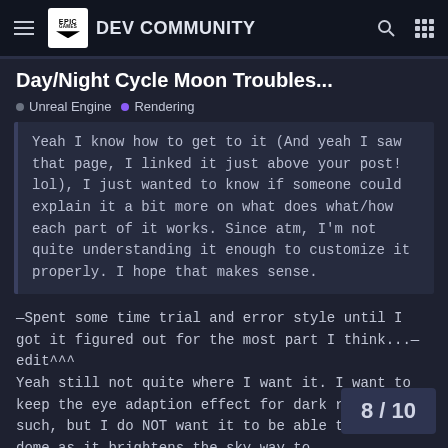Epic Games DEV COMMUNITY
Day/Night Cycle Moon Troubles...
Unreal Engine  •  Rendering
Yeah I know how to get to it (And yeah I saw that page, I linked it just above your post! lol), I just wanted to know if someone could explain it a bit more on what does what/how each part of it works. Since atm, I'm not quite understanding it enough to customize it properly. I hope that makes sense.
—Spent some time trial and error style until I got it figured out for the most part I think...—
edit^^^
Yeah still not quite where I want it. I want to keep the eye adaption effect for dark rooms and such, but I do NOT want it to be able to dome as it brightens the sky way to
8 / 10